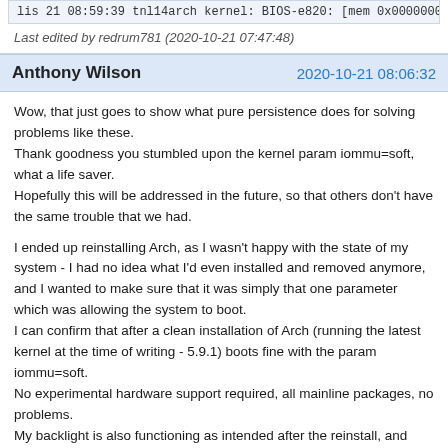[Figure (screenshot): Partial code/log line: lis 21 08:59:39 tnl14arch kernel: BIOS-e820: [mem 0x00000000]
Last edited by redrum781 (2020-10-21 07:47:48)
Anthony Wilson    2020-10-21 08:06:32
Wow, that just goes to show what pure persistence does for solving problems like these.
Thank goodness you stumbled upon the kernel param iommu=soft, what a life saver.
Hopefully this will be addressed in the future, so that others don't have the same trouble that we had.

I ended up reinstalling Arch, as I wasn't happy with the state of my system - I had no idea what I'd even installed and removed anymore, and I wanted to make sure that it was simply that one parameter which was allowing the system to boot.
I can confirm that after a clean installation of Arch (running the latest kernel at the time of writing - 5.9.1) boots fine with the param iommu=soft.
No experimental hardware support required, all mainline packages, no problems.
My backlight is also functioning as intended after the reinstall, and TLP detects the acpi_call kernel module again.